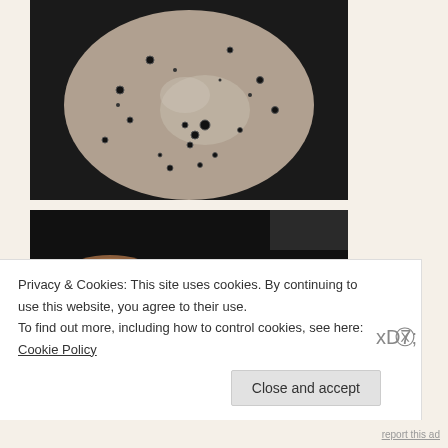[Figure (photo): Top-down view of a raw pancake batter cooking on a dark griddle, showing bubbles forming on the surface, with a grayish-tan color]
[Figure (photo): Side view of two golden-brown cooked pancakes on a dark griddle, showing crispy textured surfaces]
Privacy & Cookies: This site uses cookies. By continuing to use this website, you agree to their use.
To find out more, including how to control cookies, see here: Cookie Policy
Close and accept